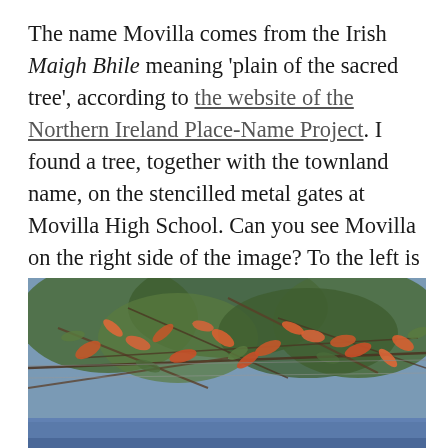The name Movilla comes from the Irish Maigh Bhile meaning 'plain of the sacred tree', according to the website of the Northern Ireland Place-Name Project. I found a tree, together with the townland name, on the stencilled metal gates at Movilla High School. Can you see Movilla on the right side of the image? To the left is another townland – Corporation North.
[Figure (photo): Close-up photograph of tree branches with orange-red and green autumn leaves against a blurred sky background, with a blue wall or gate visible at the bottom of the image.]